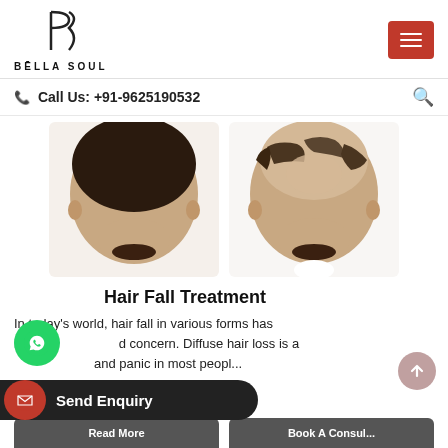BELLA SOUL
Call Us: +91-9625190532
[Figure (photo): Two men showing top-of-head views comparing hair density — one with full hair (left) and one with hair thinning/loss at the crown (right)]
Hair Fall Treatment
In today's world, hair fall in various forms has b... ...d concern. Diffuse hair loss is a ...and panic in most peopl...